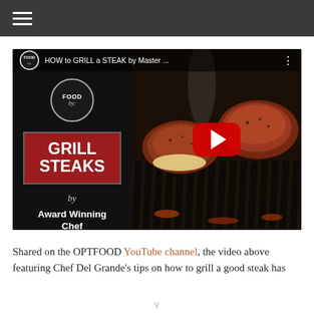≡
[Figure (screenshot): YouTube video thumbnail for 'HOW to GRILL a STEAK by Master...' featuring a red GRILL STEAKS panel by Award Winning Chef on left and steaks on a grill on the right, with a red play button overlay.]
Shared on the OPTFOOD YouTube channel, the video above featuring Chef Del Grande's tips on how to grill a good steak has